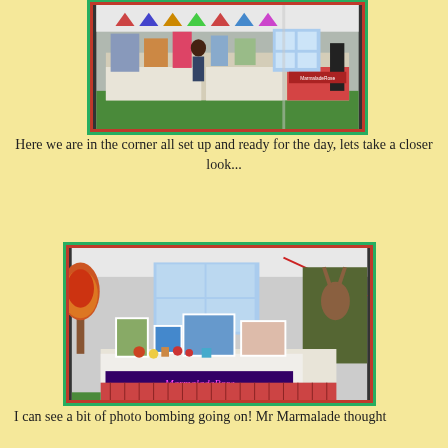[Figure (photo): Wide shot of an arts and crafts market stall inside a marquee tent, showing display tables with artwork, colorful bunting overhead, grass floor, a person browsing the stall, and a MarmaladeRose branded table.]
Here we are in the corner all set up and ready for the day, lets take a closer look...
[Figure (photo): Close-up of the MarmaladeRose craft market stall table displaying framed artwork, small items, jars, and decorated goods on a white tablecloth, with a prominent 'MarmaladeRose' banner on the front, an autumn flower tree decoration on the left, and paintings visible on the right.]
I can see a bit of photo bombing going on! Mr Marmalade thought